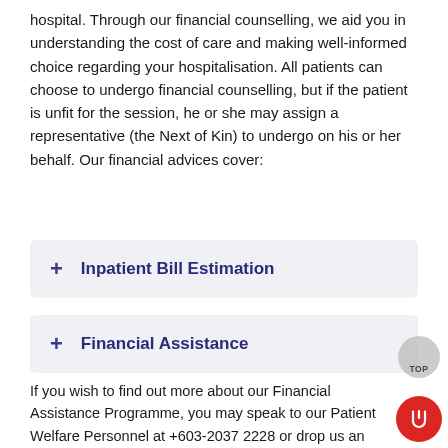hospital. Through our financial counselling, we aid you in understanding the cost of care and making well-informed choice regarding your hospitalisation. All patients can choose to undergo financial counselling, but if the patient is unfit for the session, he or she may assign a representative (the Next of Kin) to undergo on his or her behalf. Our financial advices cover:
+ Inpatient Bill Estimation
+ Financial Assistance
If you wish to find out more about our Financial Assistance Programme, you may speak to our Patient Welfare Personnel at +603-2037 2228 or drop us an email at mengchoo@tungshin.com.my.